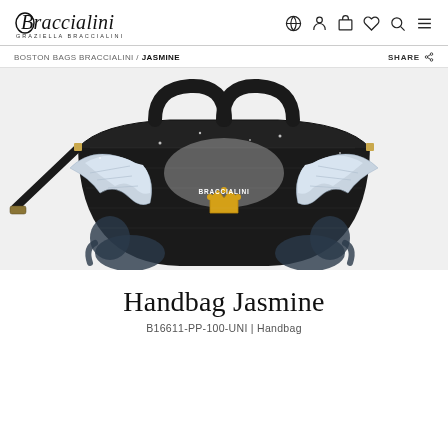Braccialini / Graziella Braccialini
BOSTON BAGS BRACCIALINI / JASMINE   SHARE
[Figure (photo): Black Braccialini Jasmine handbag with angel wings and crown print, with crossbody strap, on white background]
Handbag Jasmine
B16611-PP-100-UNI | Handbag